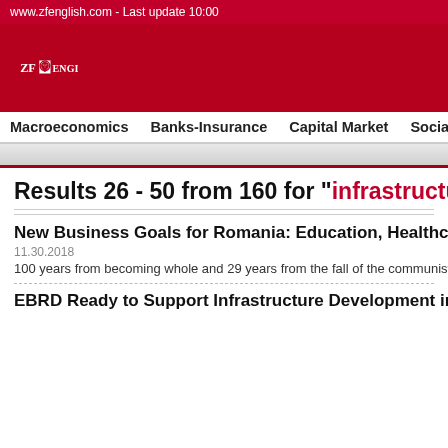www.zfenglish.com - Last update 10:00
[Figure (logo): ZF English logo with lion emblem on red background]
Macroeconomics  Banks-Insurance  Capital Market  Social/Politics  Co
Results 26 - 50 from 160 for "infrastructu..."
New Business Goals for Romania: Education, Healthcare and I...
11.30.2018
100 years from becoming whole and 29 years from the fall of the communist regi... ranking by infrastructure, spends the least in the entire EU on healthcare and its s...
EBRD Ready to Support Infrastructure Development in Roma...